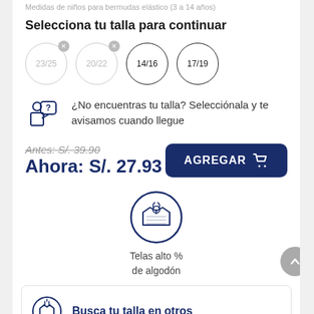Medidas de niños para bermudas elástico (3 a 14 años)
Selecciona tu talla para continuar
Size options: 23/25 (unavailable), 20/22 (unavailable), 14/16, 17/19
¿No encuentras tu talla? Selecciónala y te avisamos cuando llegue
Antes: S/. 39.90
Ahora: S/. 27.93
AGREGAR
[Figure (illustration): Cotton fabric circular badge icon with cotton plant symbol inside]
Telas alto %
de algodón
Busca tu talla en otros